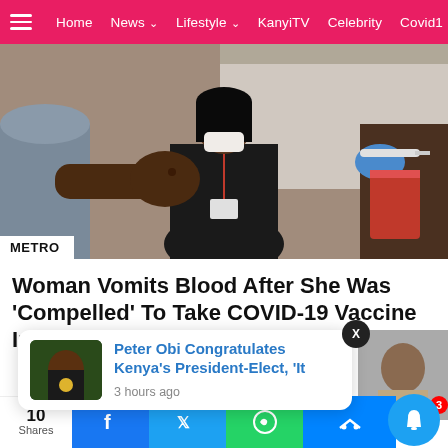Home  News  Lifestyle  KanyiTV  Celebrity  Covid19
[Figure (photo): A woman in a black top wearing a face mask is receiving a vaccination/injection in her upper arm from a healthcare worker wearing blue gloves. Another person stands to the left. Medical setting.]
METRO
Woman Vomits Blood After She Was 'Compelled' To Take COVID-19 Vaccine In Kaduna
Peter Obi Congratulates Kenya's President-Elect, 'It
3 hours ago